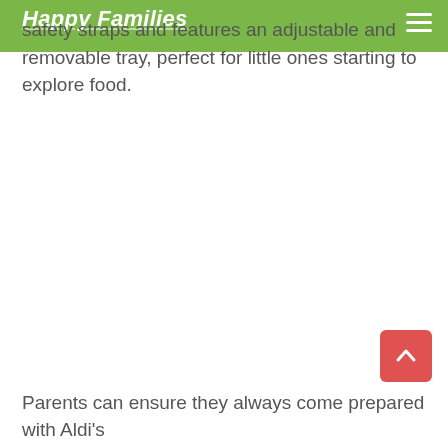Happy Families
safety straps and features an adjustable and removable tray, perfect for little ones starting to explore food.
Parents can ensure they always come prepared with Aldi's